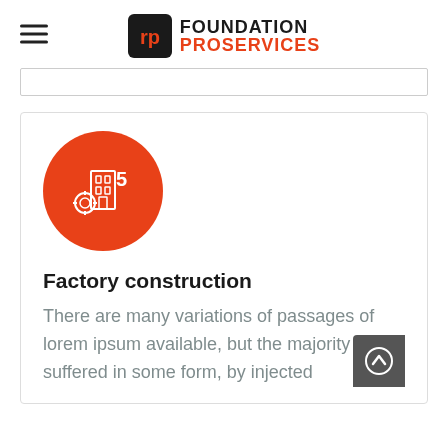FOUNDATION PROSERVICES
[Figure (logo): Foundation Pro Services logo with hamburger menu icon on the left]
[Figure (illustration): Orange circle with white building/factory construction icon]
Factory construction
There are many variations of passages of lorem ipsum available, but the majority have suffered in some form, by injected